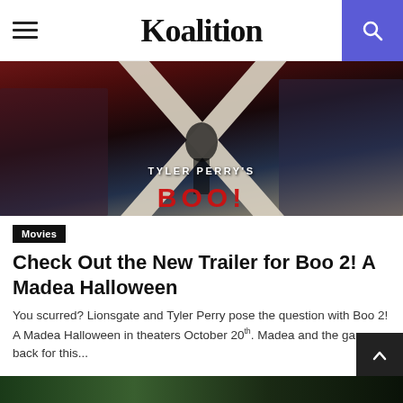Koalition
[Figure (photo): Movie poster for Tyler Perry's Boo 2! A Madea Halloween showing various characters and a large X shape in background with red lettering]
Movies
Check Out the New Trailer for Boo 2! A Madea Halloween
You scurred? Lionsgate and Tyler Perry pose the question with Boo 2! A Madea Halloween in theaters October 20th. Madea and the gang are back for this...